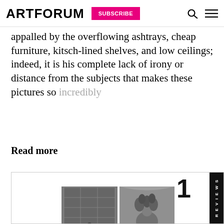ARTFORUM  SUBSCRIBE
appalled by the overflowing ashtrays, cheap furniture, kitsch-lined shelves, and low ceilings; indeed, it is his complete lack of irony or distance from the subjects that makes these pictures so incredibly
Read more
[Figure (photo): Bottom card showing two grayscale artwork images side by side with a vertical black REVIEWS sidebar on the right.]